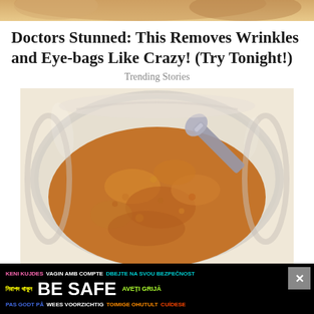[Figure (photo): Top strip showing partial food image at top of page]
Doctors Stunned: This Removes Wrinkles and Eye-bags Like Crazy! (Try Tonight!)
Trending Stories
[Figure (photo): Overhead photo of brown spice powder in a glass jar with a metal spoon]
KENI KUJDES VAGIN AMB COMPTE DBEJTE NA SVOU BEZPEČNOST নিরাপদ থাকুন BE SAFE AVEȚI GRIJĂ PAS GODT PÅ WEES VOORZICHTIG TOIMIGE OHUTULT CUÍDESE